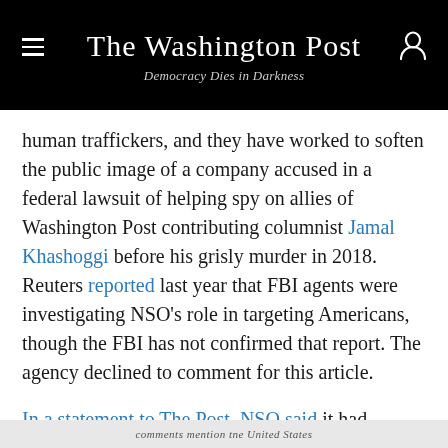The Washington Post — Democracy Dies in Darkness
human traffickers, and they have worked to soften the public image of a company accused in a federal lawsuit of helping spy on allies of Washington Post contributing columnist Jamal Khashoggi before his grisly murder in 2018. Reuters reported last year that FBI agents were investigating NSO’s role in targeting Americans, though the FBI has not confirmed that report. The agency declined to comment for this article.
In a statement to The Post, NSO said it had retained “top U.S. counsels” to help support its “life-saving mission” but declined to name its government
comments mention tne United States